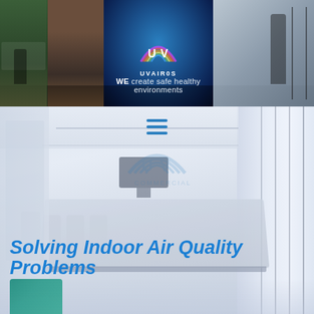[Figure (photo): Top banner collage showing office environments on left and right with a central blue glowing area featuring the UVAiros logo and tagline 'WE create safe healthy environments']
[Figure (logo): UV Airos rainbow arc logo with text UVAIR0S and tagline 'WE create safe healthy environments']
[Figure (photo): Main section showing a bright modern conference room interior with long table and chairs, large windows on right, with a faint UV Commercial watermark logo overlay and hamburger menu icon at top center]
Solving Indoor Air Quality Problems
[Figure (photo): Bottom peek of office furniture including teal/blue chair visible at bottom left]